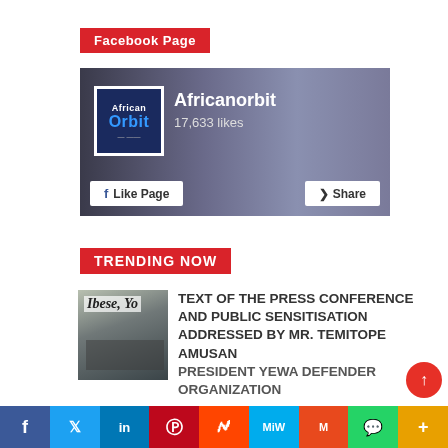Facebook Page
[Figure (screenshot): Facebook Page widget showing Africanorbit page with 17,633 likes, Like Page and Share buttons]
TRENDING NOW
[Figure (photo): Thumbnail image of Ibese, Yo... industrial scene]
TEXT OF THE PRESS CONFERENCE AND PUBLIC SENSITISATION ADDRESSED BY MR. TEMITOPE AMUSAN PRESIDENT YEWA DEFENDER ORGANIZATION
Facebook Twitter LinkedIn Pinterest Reddit MeWe Mix WhatsApp More